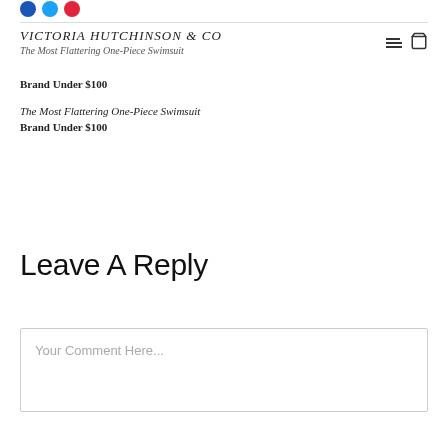[Figure (other): Three social media share buttons: dark blue (Facebook), light blue (Twitter), red (Pinterest) circles]
VICTORIA HUTCHINSON & CO
The Most Flattering One-Piece Swimsuit
Brand Under $100
The Most Flattering One-Piece Swimsuit
Brand Under $100
Leave A Reply
Your Comment Here...